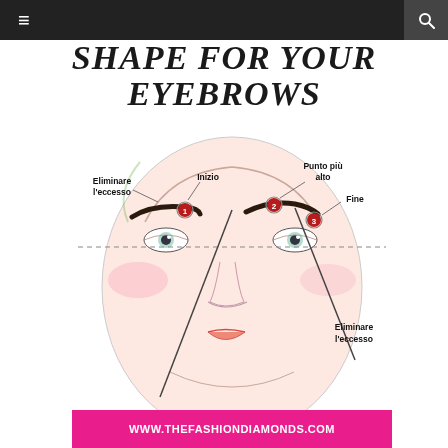≡  🔍
[Figure (illustration): Beauty infographic showing the correct eyebrow shape guide with a woman's face illustration. Title reads 'SHAPE FOR YOUR EYEBROWS'. Labels in Italian identify: Eliminare l'eccesso (remove excess), Inizio (start) with badge 1, Punto più alto (highest point) with badge 2, Fine (end) with badge 3, and Eliminare l'eccesso again. Lines with tweezers/pencil tools point to eyebrow measurement points. Bottom pink banner shows www.thefashiondiamonds.com]
WWW.THEFASHIONDIAMONDS.COM